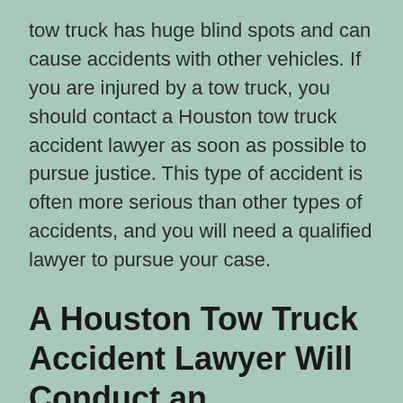tow truck has huge blind spots and can cause accidents with other vehicles. If you are injured by a tow truck, you should contact a Houston tow truck accident lawyer as soon as possible to pursue justice. This type of accident is often more serious than other types of accidents, and you will need a qualified lawyer to pursue your case.
A Houston Tow Truck Accident Lawyer Will Conduct an Investigation
A Houston tow truck accident lawyer will